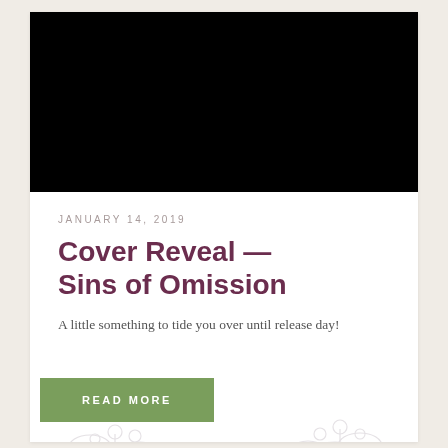[Figure (photo): Black rectangle placeholder image at top of card]
JANUARY 14, 2019
Cover Reveal — Sins of Omission
A little something to tide you over until release day!
[Figure (illustration): Decorative floral line illustration in light purple/grey tones in the background]
READ MORE